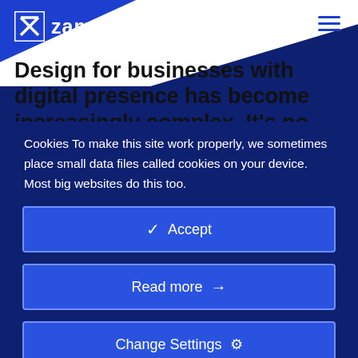[Figure (logo): Zamartz logo: white Z in a square box followed by bold white text 'zamartz' on blue background header]
Design for businesses with digital presence has become increasingly complex. It's no
Cookies To make this site work properly, we sometimes place small data files called cookies on your device. Most big websites do this too.
✓  Accept
Read more  →
Change Settings  ⚙